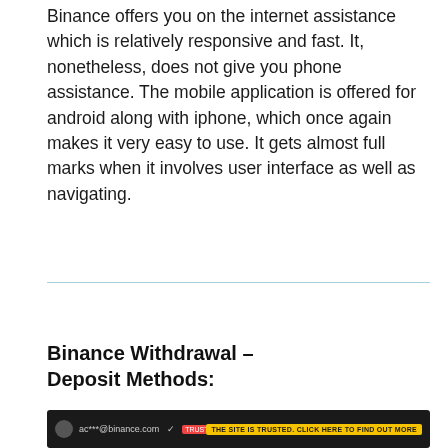Binance offers you on the internet assistance which is relatively responsive and fast. It, nonetheless, does not give you phone assistance. The mobile application is offered for android along with iphone, which once again makes it very easy to use. It gets almost full marks when it involves user interface as well as navigating.
Binance Withdrawal – Deposit Methods:
[Figure (screenshot): Screenshot of Binance website interface showing the address bar with ac***@binance.com and a yellow badge/button on the right side.]